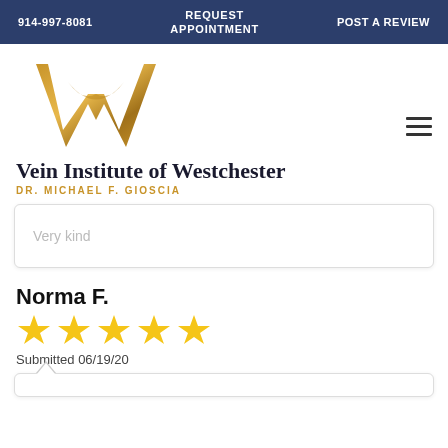914-997-8081   REQUEST APPOINTMENT   POST A REVIEW
[Figure (logo): Golden W-shaped logo for Vein Institute of Westchester]
Vein Institute of Westchester
DR. MICHAEL F. GIOSCIA
Very kind
Norma F.
[Figure (other): Five gold stars rating]
Submitted 06/19/20